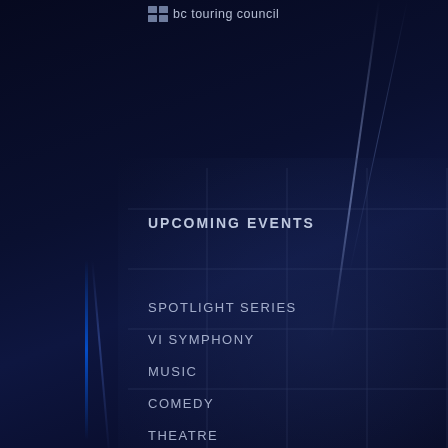bc touring council
UPCOMING EVENTS
SPOTLIGHT SERIES
VI SYMPHONY
MUSIC
COMEDY
THEATRE
DANCE
FAMILY
OTHER VENUES
SPECIAL EVENTS
PAGES
MAIN